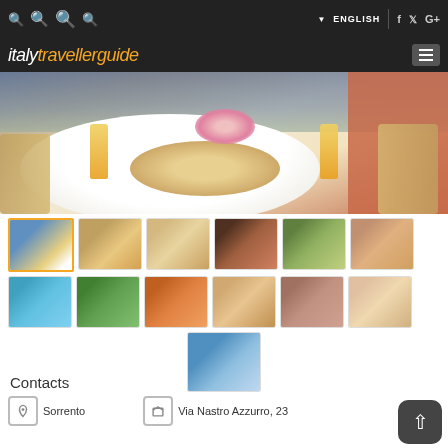italytravellerguide — ENGLISH
[Figure (photo): Hotel balcony breakfast table with orange juice, bread, coffee cups and flowers, scenic view in background]
[Figure (photo): Grid of 13 hotel thumbnail photos showing exterior, rooms, pool, garden, restaurant, and scenic views]
Contacts
Sorrento
Via Nastro Azzurro, 23